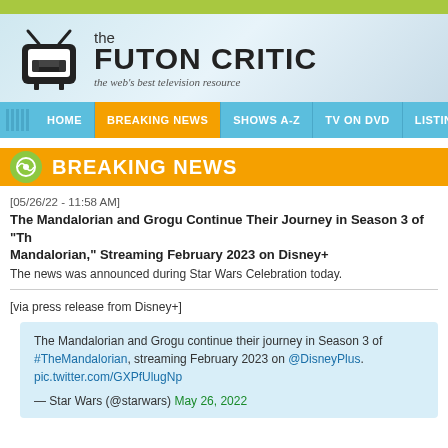the FUTON CRITIC – the web's best television resource
BREAKING NEWS
[05/26/22 - 11:58 AM]
The Mandalorian and Grogu Continue Their Journey in Season 3 of "The Mandalorian," Streaming February 2023 on Disney+
The news was announced during Star Wars Celebration today.
[via press release from Disney+]
The Mandalorian and Grogu continue their journey in Season 3 of #TheMandalorian, streaming February 2023 on @DisneyPlus. pic.twitter.com/GXPfUlugNp — Star Wars (@starwars) May 26, 2022